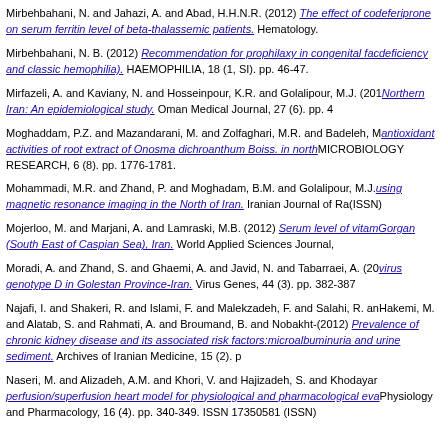Mirbehbahani, N. and Jahazi, A. and Abad, H.H.N.R. (2012) The effect of combined deferiprone on serum ferritin level of beta-thalassemic patients. Hematology.
Mirbehbahani, N. B. (2012) Recommendation for prophilaxy in congenital factor deficiency and classic hemophilia). HAEMOPHILIA, 18 (1, SI). pp. 46-47.
Mirfazeli, A. and Kaviany, N. and Hosseinpour, K.R. and Golalipour, M.J. (2012) Northern Iran: An epidemiological study. Oman Medical Journal, 27 (6). pp. 4
Moghaddam, P.Z. and Mazandarani, M. and Zolfaghari, M.R. and Badeleh, M. antioxidant activities of root extract of Onosma dichroanthum Boiss. in north MICROBIOLOGY RESEARCH, 6 (8). pp. 1776-1781.
Mohammadi, M.R. and Zhand, P. and Moghadam, B.M. and Golalipour, M.J. using magnetic resonance imaging in the North of Iran. Iranian Journal of Ra (ISSN)
Mojerloo, M. and Marjani, A. and Lamraski, M.B. (2012) Serum level of vitam Gorgan (South East of Caspian Sea), Iran. World Applied Sciences Journal,
Moradi, A. and Zhand, S. and Ghaemi, A. and Javid, N. and Tabarraei, A. (20 virus genotype D in Golestan Province-Iran. Virus Genes, 44 (3). pp. 382-387
Najafi, I. and Shakeri, R. and Islami, F. and Malekzadeh, F. and Salahi, R. and Hakemi, M. and Alatab, S. and Rahmati, A. and Broumand, B. and Nobakht-H (2012) Prevalence of chronic kidney disease and its associated risk factors: microalbuminuria and urine sediment. Archives of Iranian Medicine, 15 (2). p
Naseri, M. and Alizadeh, A.M. and Khori, V. and Hajizadeh, S. and Khodayar perfusion/superfusion heart model for physiological and pharmacological eva Physiology and Pharmacology, 16 (4). pp. 340-349. ISSN 17350581 (ISSN)